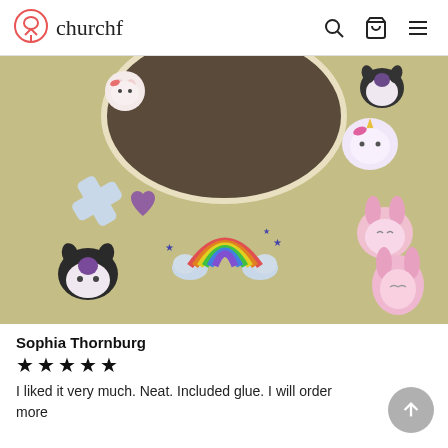churchf
[Figure (photo): Photo of a yellow surface decorated with various kawaii/Sanrio stickers including Hello Kitty, Kuromi, My Melody, and a rainbow sticker, with a round mirror reflection visible.]
Sophia Thornburg
★★★★★
I liked it very much. Neat. Included glue. I will order more